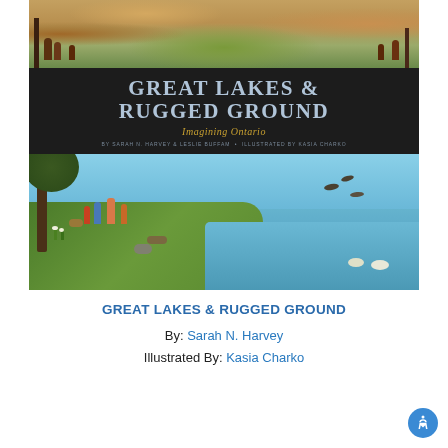[Figure (illustration): Book cover of 'Great Lakes & Rugged Ground: Imagining Ontario' by Sarah N. Harvey & Leslie Buffam, illustrated by Kasia Charko. Top half shows Indigenous people in a forest/village scene. Dark title band in middle with book title and subtitle. Bottom half shows children and a dog at the edge of a lake with ducks flying over the water.]
GREAT LAKES & RUGGED GROUND
By: Sarah N. Harvey
Illustrated By: Kasia Charko